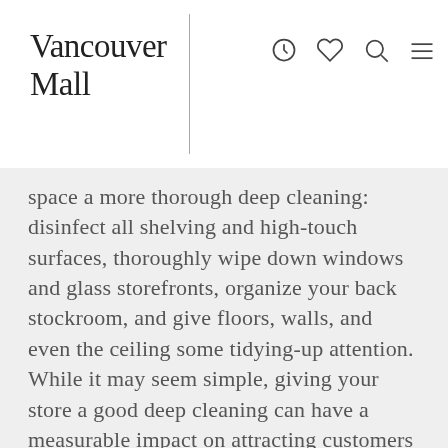Vancouver Mall
space a more thorough deep cleaning: disinfect all shelving and high-touch surfaces, thoroughly wipe down windows and glass storefronts, organize your back stockroom, and give floors, walls, and even the ceiling some tidying-up attention. While it may seem simple, giving your store a good deep cleaning can have a measurable impact on attracting customers to your space.